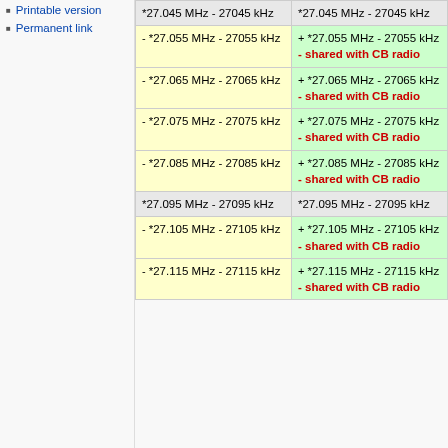Printable version
Permanent link
| Column 1 | Column 2 |
| --- | --- |
| *27.045 MHz - 27045 kHz | *27.045 MHz - 27045 kHz |
| - *27.055 MHz - 27055 kHz | + *27.055 MHz - 27055 kHz - shared with CB radio |
| - *27.065 MHz - 27065 kHz | + *27.065 MHz - 27065 kHz - shared with CB radio |
| - *27.075 MHz - 27075 kHz | + *27.075 MHz - 27075 kHz - shared with CB radio |
| - *27.085 MHz - 27085 kHz | + *27.085 MHz - 27085 kHz - shared with CB radio |
| *27.095 MHz - 27095 kHz | *27.095 MHz - 27095 kHz |
| - *27.105 MHz - 27105 kHz | + *27.105 MHz - 27105 kHz - shared with CB radio |
| - *27.115 MHz - 27115 kHz | + *27.115 MHz - 27115 kHz - shared with CB radio |